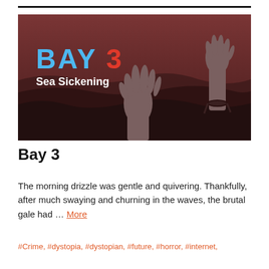[Figure (illustration): Movie/book cover image for 'Bay 3 Sea Sickening' showing two hands reaching up out of dark reddish-brown ocean waves. Text overlay shows 'BAY 3' in large bold blue and red letters, with 'Sea Sickening' in white bold text beneath.]
Bay 3
The morning drizzle was gentle and quivering. Thankfully, after much swaying and churning in the waves, the brutal gale had … More
#Crime, #dystopia, #dystopian, #future, #horror, #internet,